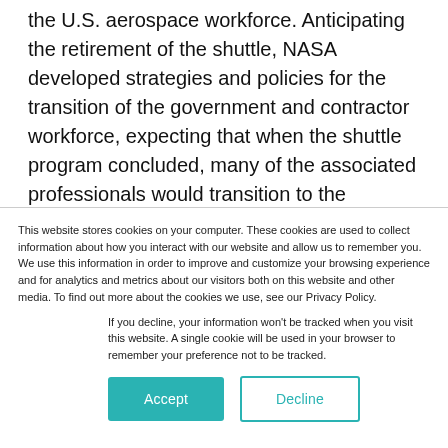the U.S. aerospace workforce. Anticipating the retirement of the shuttle, NASA developed strategies and policies for the transition of the government and contractor workforce, expecting that when the shuttle program concluded, many of the associated professionals would transition to the Constellation Program. However, funding for the Constellation Program was cancelled under the U.S. fiscal year (FY) 2011
This website stores cookies on your computer. These cookies are used to collect information about how you interact with our website and allow us to remember you. We use this information in order to improve and customize your browsing experience and for analytics and metrics about our visitors both on this website and other media. To find out more about the cookies we use, see our Privacy Policy.
If you decline, your information won't be tracked when you visit this website. A single cookie will be used in your browser to remember your preference not to be tracked.